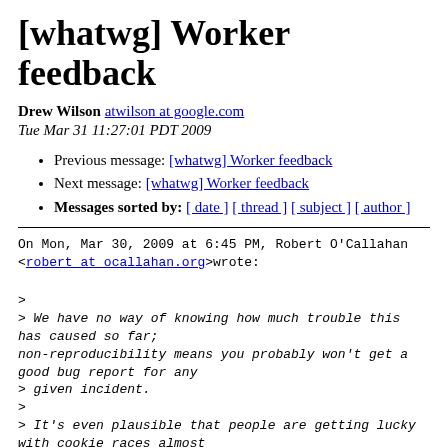[whatwg] Worker feedback
Drew Wilson atwilson at google.com
Tue Mar 31 11:27:01 PDT 2009
Previous message: [whatwg] Worker feedback
Next message: [whatwg] Worker feedback
Messages sorted by: [ date ] [ thread ] [ subject ] [ author ]
On Mon, Mar 30, 2009 at 6:45 PM, Robert O'Callahan <robert at ocallahan.org>wrote:

>
> We have no way of knowing how much trouble this has caused so far;
> non-reproducibility means you probably won't get a good bug report for any
> given incident.
>
> It's even plausible that people are getting lucky with cookie races almost
> all the time, or maybe cookies are usually used in a way that makes them a
> non-issue. That doesn't mean designing cookie races in is a good idea.
>